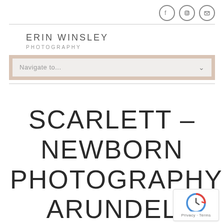[Figure (illustration): Social media icons: Facebook, Instagram, Email in circle outlines]
ERIN WINSLEY PHOTOGRAPHY
Navigate to...
SCARLETT – NEWBORN PHOTOGRAPHY ARUNDEL
[Figure (logo): reCAPTCHA badge with Privacy - Terms text]